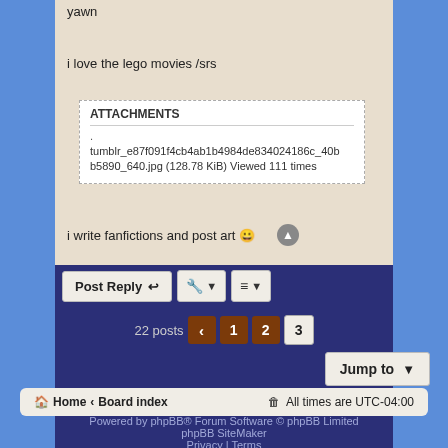yawn
i love the lego movies /srs
ATTACHMENTS
.
tumblr_e87f091f4cb4ab1b4984de834024186c_40bb5890_640.jpg (128.78 KiB) Viewed 111 times
i write fanfictions and post art 😀
Post Reply | tools | sort | 22 posts | < | 1 | 2 | 3 | Jump to
Home ‹ Board index | All times are UTC-04:00
Powered by phpBB® Forum Software © phpBB Limited
phpBB SiteMaker
Privacy | Terms